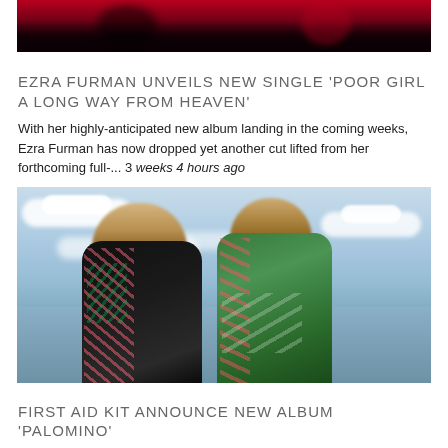[Figure (photo): Top portion of a photo showing a figure in dark clothing against a red/dark background, partially cropped]
EZRA FURMAN UNVEILS NEW SINGLE 'POOR GIRL A LONG WAY FROM HEAVEN'
With her highly-anticipated new album landing in the coming weeks, Ezra Furman has now dropped yet another cut lifted from her forthcoming full-... 3 weeks 4 hours ago
[Figure (photo): Two women with long blonde hair wearing colorful patterned outfits (black and multicolor, green and multicolor) standing close together against a blue cloudy sky, photographed from below]
FIRST AID KIT ANNOUNCE NEW ALBUM 'PALOMINO'